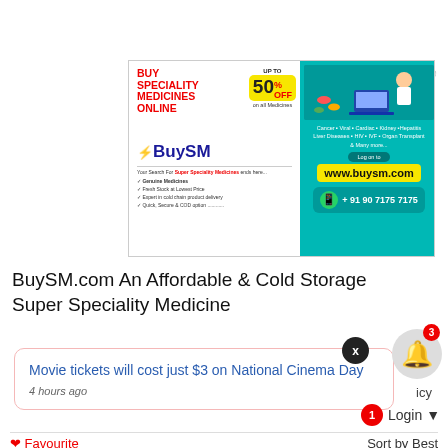[Figure (infographic): BuySM.com pharmacy advertisement banner showing 'Buy Speciality Medicines Online' with 'UP TO 50% OFF on all Medicines', BuySM logo, checklist of features, and right panel showing teal background with medical categories (Cancer, Viral, Cardiac, Kidney, Hepatitis, Liver Diseases, HIV, IVF, Organ Transplant & Many more), website www.buysm.com, and phone +91 90 7175 7175]
BuySM.com An Affordable & Cold Storage Super Speciality Medicine
[Figure (screenshot): Notification popup showing 'Movie tickets will cost just $3 on National Cinema Day' posted 4 hours ago, with X close button and bell notification icon with badge showing 3]
icy
Login
Favourite  |  Sort by Best